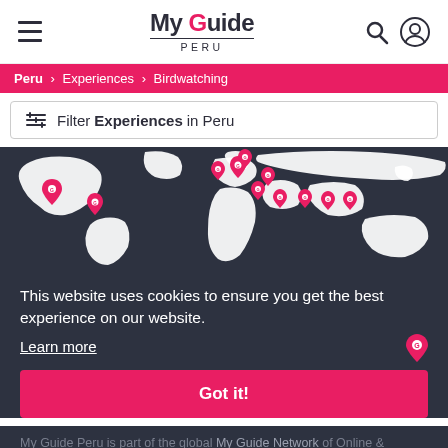My Guide Peru — navigation header with hamburger menu, logo, search icon, and account icon
Peru > Experiences > Birdwatching
Filter Experiences in Peru
[Figure (map): Dark world map with pink My Guide location pins across various continents]
This website uses cookies to ensure you get the best experience on our website. Learn more
Got it!
My Guide Peru is part of the global My Guide Network of Online &